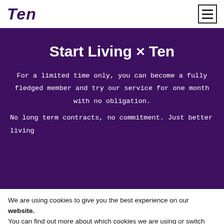TEN
Start Living × Ten
For a limited time only, you can become a fully fledged member and try our service for one month with no obligation.
No long term contracts, no commitment. Just better living
We are using cookies to give you the best experience on our website.
You can find out more about which cookies we are using or switch them off in settings.